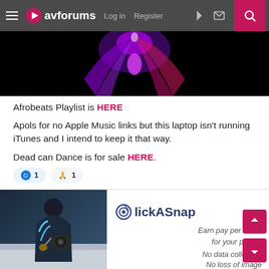avforums — Log in  Register
[Figure (photo): Dark image with purple and pink neon lightning/bird shapes on black background]
Afrobeats Playlist is HERE
Apols for no Apple Music links but this laptop isn't running iTunes and I intend to keep it that way.
Dead can Dance is for sale HERE.
👍 1   🙏 1
[Figure (screenshot): ClickASnap advertisement — photographer holding camera, with text: Earn pay per views for your photos / No data collection / No loss of image]